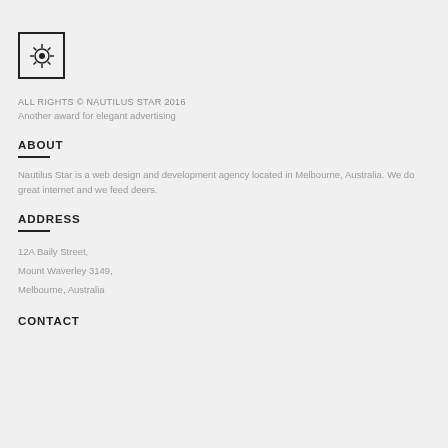[Figure (logo): Square bordered logo box with a sun/star gear icon in the center]
ALL RIGHTS © NAUTILUS STAR 2016
Another award for elegant advertising
ABOUT
Nautilus Star is a web design and development agency located in Melbourne, Australia. We do great internet and we feed deers.
ADDRESS
12A Baily Street,
Mount Waverley 3149,
Melbourne, Australia
CONTACT